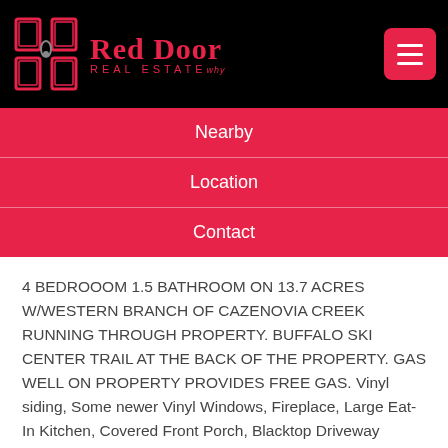[Figure (logo): Red Door Real Estate logo with pink door icon on black background header]
Nearby
Location
Contact
4 BEDROOOM 1.5 BATHROOM ON 13.7 ACRES W/WESTERN BRANCH OF CAZENOVIA CREEK RUNNING THROUGH PROPERTY. BUFFALO SKI CENTER TRAIL AT THE BACK OF THE PROPERTY. GAS WELL ON PROPERTY PROVIDES FREE GAS. Vinyl siding, Some newer Vinyl Windows, Fireplace, Large Eat-In Kitchen, Covered Front Porch, Blacktop Driveway w/Turnaround, Shed(s), Furnace was installed in 2012